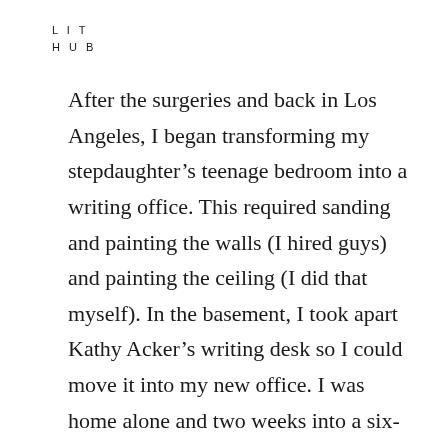LIT
HUB
After the surgeries and back in Los Angeles, I began transforming my stepdaughter’s teenage bedroom into a writing office. This required sanding and painting the walls (I hired guys) and painting the ceiling (I did that myself). In the basement, I took apart Kathy Acker’s writing desk so I could move it into my new office. I was home alone and two weeks into a six-week course of radiation therapy. I was tired, but not